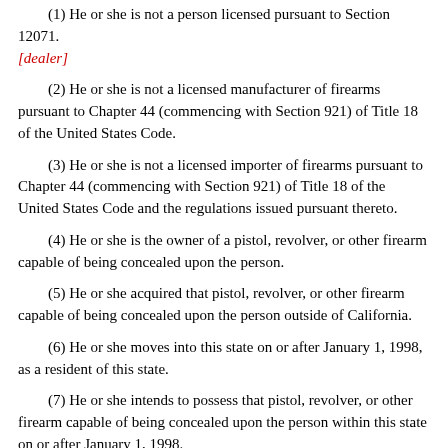(1) He or she is not a person licensed pursuant to Section 12071. [dealer]
(2) He or she is not a licensed manufacturer of firearms pursuant to Chapter 44 (commencing with Section 921) of Title 18 of the United States Code.
(3) He or she is not a licensed importer of firearms pursuant to Chapter 44 (commencing with Section 921) of Title 18 of the United States Code and the regulations issued pursuant thereto.
(4) He or she is the owner of a pistol, revolver, or other firearm capable of being concealed upon the person.
(5) He or she acquired that pistol, revolver, or other firearm capable of being concealed upon the person outside of California.
(6) He or she moves into this state on or after January 1, 1998, as a resident of this state.
(7) He or she intends to possess that pistol, revolver, or other firearm capable of being concealed upon the person within this state on or after January 1, 1998.
(8) The pistol, revolver, or other firearm capable of being concealed upon the person was not delivered to him or her by a